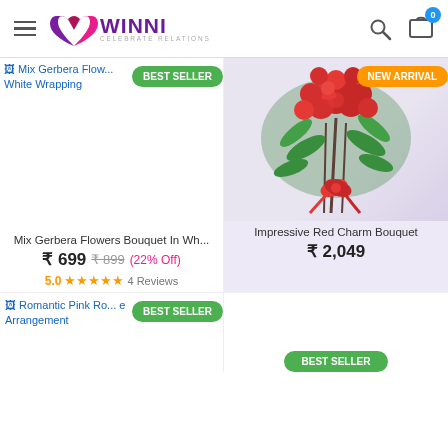WINNI — CELEBRATE RELATIONS
[Figure (screenshot): Product card: Mix Gerbera Flowers Bouquet In White Wrapping with BEST SELLER badge. Broken image placeholder shown. Price ₹699, original ₹899 (22% Off). Rating 5.0 stars, 4 Reviews.]
[Figure (photo): Product card: Impressive Red Charm Bouquet with NEW ARRIVAL badge. Photo of large bouquet of red roses with greenery tied with red bow. Price ₹2,049.]
[Figure (screenshot): Product card: Romantic Pink Rose Arrangement with BEST SELLER badge. Bottom of page, image partially visible.]
[Figure (screenshot): Bottom right product card with BEST SELLER badge.]